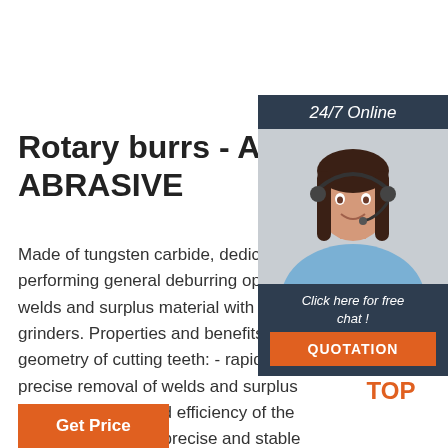[Figure (other): Chat widget panel with 24/7 Online label, photo of woman with headset, 'Click here for free chat!' text, and QUOTATION button]
Rotary burrs - ANDRE ABRASIVE
Made of tungsten carbide, dedicated performing general deburring operations welds and surplus material with high-grinders. Properties and benefits: Unique geometry of cutting teeth: - rapid and precise removal of welds and surplus material, - increased efficiency of the grinding process, - precise and stable operation,
[Figure (logo): TOP logo with orange dots arranged in triangle above orange TOP text]
Get Price